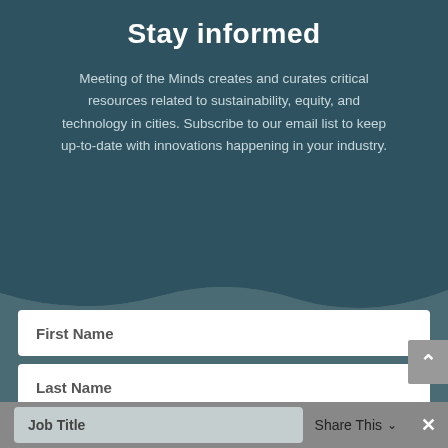Stay informed
Meeting of the Minds creates and curates critical resources related to sustainability, equity, and technology in cities. Subscribe to our email list to keep up-to-date with innovations happening in your industry.
[Figure (infographic): Wave-shaped SVG divider separating dark teal header from lighter teal form section]
First Name
Last Name
Email
Job Title
Share This ∨  ✕